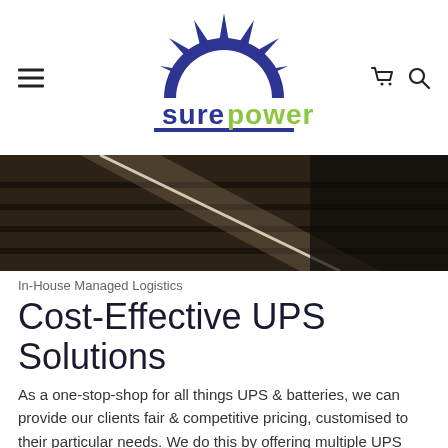[Figure (logo): Sure Power logo with dark blue sun/spikes graphic above stylized text reading 'sure power' with 'sure' in dark blue and 'power' in lime green, underlined with a dark blue bar]
[Figure (photo): Hero image showing wooden deck or solar panel surface with strong light reflections, dark tones]
In-House Managed Logistics
Cost-Effective UPS Solutions
As a one-stop-shop for all things UPS & batteries, we can provide our clients fair & competitive pricing, customised to their particular needs. We do this by offering multiple UPS brands and by managing our in-house solutions such